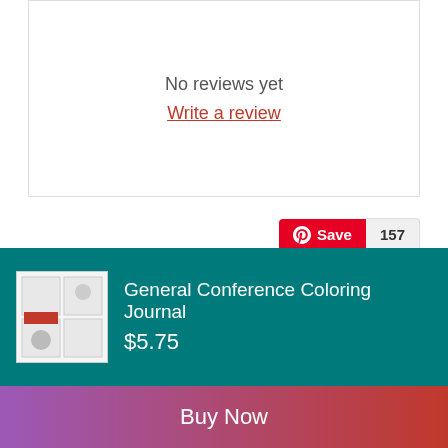No reviews yet
Write a review
[Figure (other): Pinterest Save button with count 157]
🛒 don't miss out on these other great kits:
VIEW MORE
[Figure (other): Product thumbnail for General Conference Coloring Journal]
General Conference Coloring Journal $5.75
Buy Now